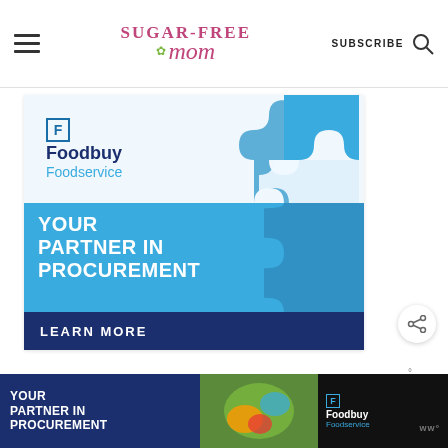Sugar-Free Mom | SUBSCRIBE
[Figure (infographic): Foodbuy Foodservice advertisement banner with puzzle pieces graphic. Text reads: YOUR PARTNER IN PROCUREMENT | LEARN MORE]
[Figure (logo): WW (Weight Watchers) logo with degree symbol]
[Figure (infographic): Bottom banner ad: YOUR PARTNER IN PROCUREMENT with food photo and Foodbuy Foodservice logo on dark background]